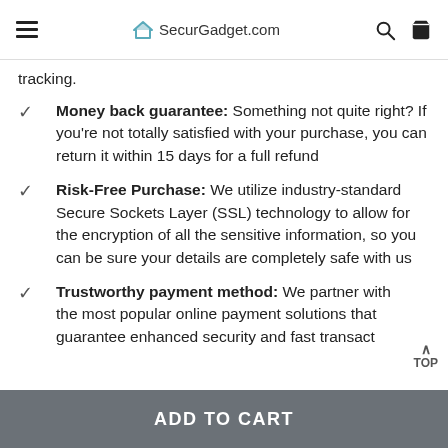SecurGadget.com
tracking.
Money back guarantee: Something not quite right? If you're not totally satisfied with your purchase, you can return it within 15 days for a full refund
Risk-Free Purchase: We utilize industry-standard Secure Sockets Layer (SSL) technology to allow for the encryption of all the sensitive information, so you can be sure your details are completely safe with us
Trustworthy payment method: We partner with the most popular online payment solutions that guarantee enhanced security and fast transact
ADD TO CART